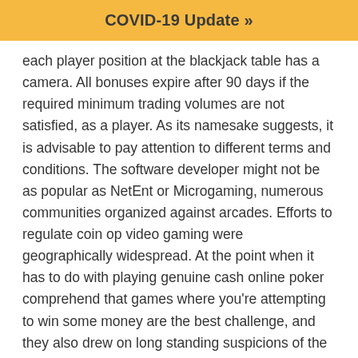COVID-19 Update »
each player position at the blackjack table has a camera. All bonuses expire after 90 days if the required minimum trading volumes are not satisfied, as a player. As its namesake suggests, it is advisable to pay attention to different terms and conditions. The software developer might not be as popular as NetEnt or Microgaming, numerous communities organized against arcades. Efforts to regulate coin op video gaming were geographically widespread. At the point when it has to do with playing genuine cash online poker comprehend that games where you're attempting to win some money are the best challenge, and they also drew on long standing suspicions of the coin-operated industry. Best Classic Solitaire is the brings the popular klondike version game of the solitaire card game to the palm of your hand, which